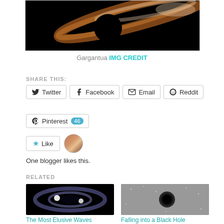[Figure (photo): Artistic rendering of the black hole Gargantua with accretion disk and light bending effects]
Gargantua IMG CREDIT
SHARE THIS:
Twitter | Facebook | Email | Reddit | Pinterest 46
One blogger likes this.
RELATED
[Figure (photo): Two merging neutron stars or black holes with spiral arms of light]
The Most Elusive Waves
[Figure (photo): Black hole silhouette against star field background]
Falling into a Black Hole